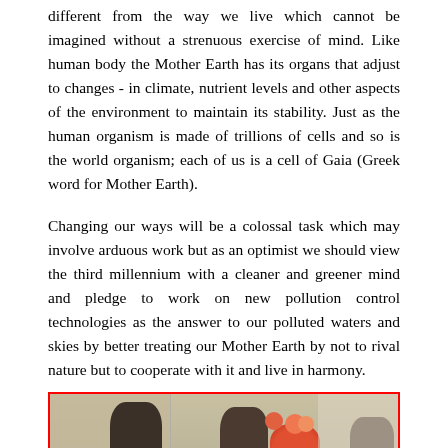different from the way we live which cannot be imagined without a strenuous exercise of mind. Like human body the Mother Earth has its organs that adjust to changes - in climate, nutrient levels and other aspects of the environment to maintain its stability. Just as the human organism is made of trillions of cells and so is the world organism; each of us is a cell of Gaia (Greek word for Mother Earth).
Changing our ways will be a colossal task which may involve arduous work but as an optimist we should view the third millennium with a cleaner and greener mind and pledge to work on new pollution control technologies as the answer to our polluted waters and skies by better treating our Mother Earth by not to rival nature but to cooperate with it and live in harmony.
[Figure (photo): A group photo of people indoors, with a map visible on the left side and a bouquet of flowers in the center.]